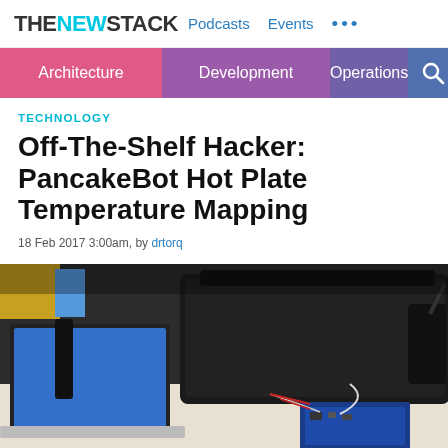THE NEW STACK  Podcasts  Events  ...
Architecture  Development  Operations
TECHNOLOGY
Off-The-Shelf Hacker: PancakeBot Hot Plate Temperature Mapping
18 Feb 2017 3:00am, by drtorq
[Figure (photo): Photo of a PancakeBot hot plate with an Arduino board and sensor wires, alongside a laptop with a blue screen, on a white table.]